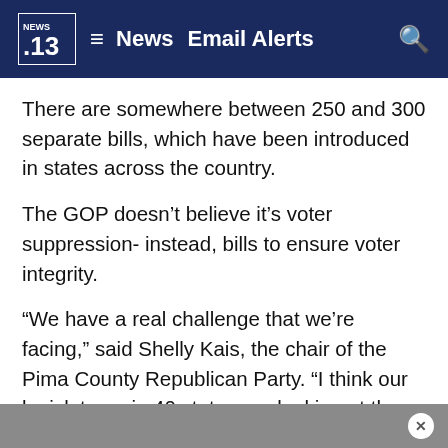NEWS 13  ≡  News  Email Alerts  🔍
There are somewhere between 250 and 300 separate bills, which have been introduced in states across the country.
The GOP doesn't believe it's voter suppression- instead, bills to ensure voter integrity.
“We have a real challenge that we’re facing,” said Shelly Kais, the chair of the Pima County Republican Party. “I think our legislatures in 40 states are looking at these laws to identify ways to make sure our elections are free and fair.”
80% of Arizona voters cast ballots by mail, which are popular among both parties.
ⓧ